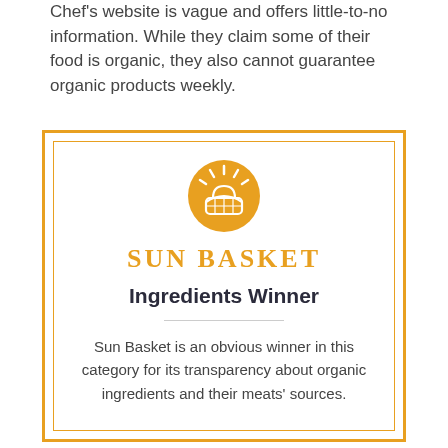Chef's website is vague and offers little-to-no information. While they claim some of their food is organic, they also cannot guarantee organic products weekly.
[Figure (logo): Sun Basket logo: orange circle with farm/sun icon above text reading SUN BASKET in orange serif letters]
Ingredients Winner
Sun Basket is an obvious winner in this category for its transparency about organic ingredients and their meats' sources.